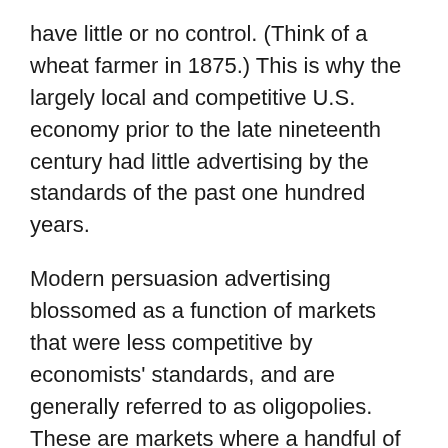have little or no control. (Think of a wheat farmer in 1875.) This is why the largely local and competitive U.S. economy prior to the late nineteenth century had little advertising by the standards of the past one hundred years.
Modern persuasion advertising blossomed as a function of markets that were less competitive by economists' standards, and are generally referred to as oligopolies. These are markets where a handful of firms dominate output or sales in the industry, and where they have sufficient market power that they can set the price at which their product sells. The key to an oligopoly is that it is very difficult for newcomers to enter the market, no matter how profitable it may be, because of the power of the existing players. Under oligopoly there is strong disincentive to engage in price warfare to expand one's market share, because all the main players are large enough to survive a price